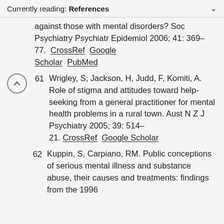Currently reading: References
against those with mental disorders? Soc Psychiatry Psychiatr Epidemiol 2006; 41: 369–77. CrossRef  Google Scholar  PubMed
61  Wrigley, S, Jackson, H, Judd, F, Komiti, A. Role of stigma and attitudes toward help-seeking from a general practitioner for mental health problems in a rural town. Aust N Z J Psychiatry 2005; 39: 514–21. CrossRef  Google Scholar
62  Kuppin, S, Carpiano, RM. Public conceptions of serious mental illness and substance abuse, their causes and treatments: findings from the 1996